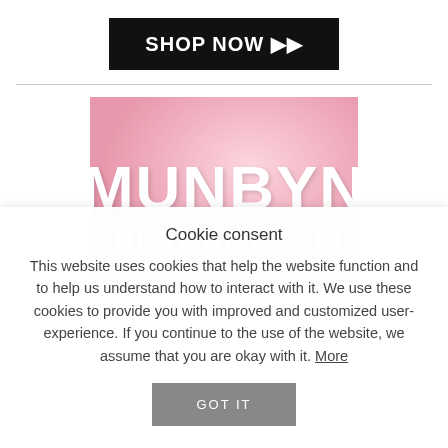[Figure (other): Black 'SHOP NOW ▶▶' button banner at top of page]
[Figure (logo): Pink gradient banner with white bold text 'MUNBYN' and 'THERMAL LABEL' below it]
Cookie consent
This website uses cookies that help the website function and to help us understand how to interact with it. We use these cookies to provide you with improved and customized user-experience. If you continue to the use of the website, we assume that you are okay with it. More
[Figure (other): Gray 'GOT IT' button]